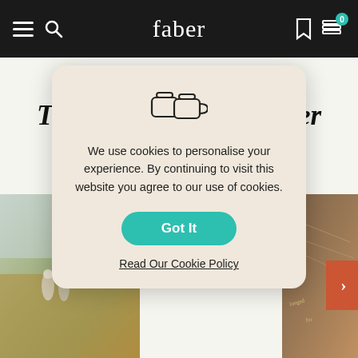faber
More books by Timberlake Wertenbaker
[Figure (screenshot): Cookie consent dialog with a cookie icon, message about personalising experience, a teal 'Got It' button, and a 'Read Our Cookie Policy' link]
We use cookies to personalise your experience. By continuing to visit this website you agree to our use of cookies.
Got It
Read Our Cookie Policy
[Figure (photo): Book covers visible behind the cookie dialog — one showing an outdoor pastoral scene on the left, another showing a vintage document/map on the right]